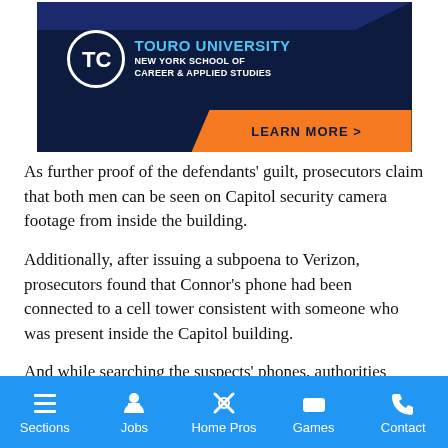[Figure (illustration): Touro University New York School of Career & Applied Sciences advertisement banner with dark navy background, circular logo with TC letters, blue university name text, and orange Learn More button]
As further proof of the defendants’ guilt, prosecutors claim that both men can be seen on Capitol security camera footage from inside the building.
Additionally, after issuing a subpoena to Verizon, prosecutors found that Connor’s phone had been connected to a cell tower consistent with someone who was present inside the Capitol building.
And while searching the suspects’ phones, authorities found a
Sections  Jobs  Home Pros  Games  Contact